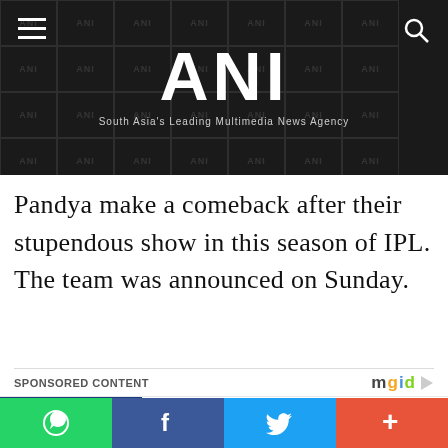ANI — South Asia's Leading Multimedia News Agency
Pandya make a comeback after their stupendous show in this season of IPL. The team was announced on Sunday.
SPONSORED CONTENT
[Figure (photo): Woman with dramatic makeup (Jennifer Lopez-style) against dark background — thumbnail for Ben Affleck article]
Ben Affleck Just Dropped This Major Bombshell
Traitslab
[Figure (photo): Person lying down on dark surface — thumbnail for video games article]
Time Playing Video Games Can Have A Detrimental Effect O…
WhatsApp | Facebook | Twitter | More share options